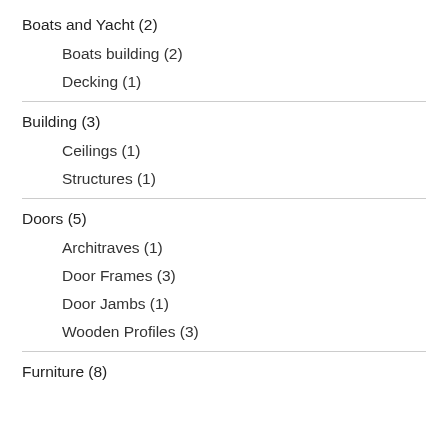Boats and Yacht (2)
Boats building (2)
Decking (1)
Building (3)
Ceilings (1)
Structures (1)
Doors (5)
Architraves (1)
Door Frames (3)
Door Jambs (1)
Wooden Profiles (3)
Furniture (8)